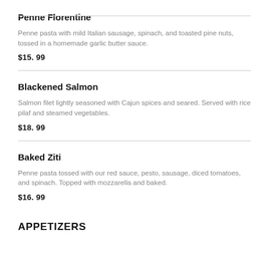Penne Florentine
Penne pasta with mild Italian sausage, spinach, and toasted pine nuts, tossed in a homemade garlic butter sauce.
$15.99
Blackened Salmon
Salmon filet lightly seasoned with Cajun spices and seared. Served with rice pilaf and steamed vegetables.
$18.99
Baked Ziti
Penne pasta tossed with our red sauce, pesto, sausage, diced tomatoes, and spinach. Topped with mozzarella and baked.
$16.99
APPETIZERS